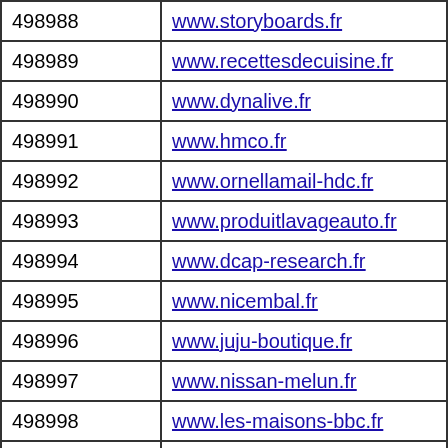| ID | URL |
| --- | --- |
| 498988 | www.storyboards.fr |
| 498989 | www.recettesdecuisine.fr |
| 498990 | www.dynalive.fr |
| 498991 | www.hmco.fr |
| 498992 | www.ornellamail-hdc.fr |
| 498993 | www.produitlavageauto.fr |
| 498994 | www.dcap-research.fr |
| 498995 | www.nicembal.fr |
| 498996 | www.juju-boutique.fr |
| 498997 | www.nissan-melun.fr |
| 498998 | www.les-maisons-bbc.fr |
| 498999 | www.copytranslator.fr |
| 499000 | www.locazur.fr |
| 499001 | www.soleil-or.fr |
| 499002 | www.mcair-47.fr |
| 499003 | www.emca-international.fr |